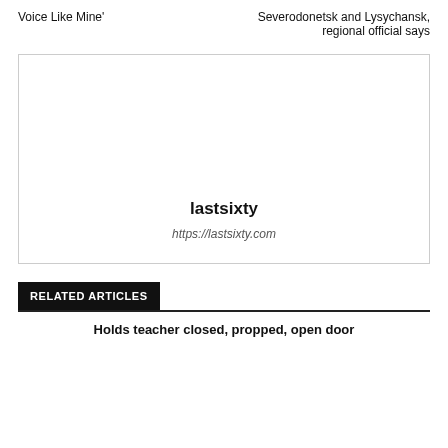Voice Like Mine'
Severodonetsk and Lysychansk, regional official says
[Figure (other): Advertisement placeholder box with site name 'lastsixty' and URL 'https://lastsixty.com']
RELATED ARTICLES
Holds teacher closed, propped, open door